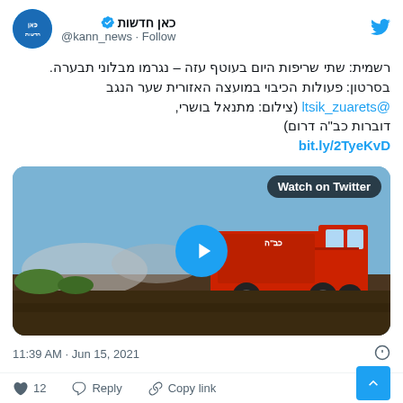[Figure (screenshot): Twitter/X logo bird icon in blue, top right corner]
כאן חדשות @kann_news · Follow
רשמית: שתי שריפות היום בעוטף עזה – נגרמו מבלוני תבערה. בסרטון: פעולות הכיבוי במועצה האזורית שער הנגב @ltsik_zuarets (צילום: מתנאל בושרי, דוברות כב"ה דרום) bit.ly/2TyeKvD
[Figure (photo): Video thumbnail showing a red Israeli fire truck at a burn site with smoke, blue sky. Play button overlay and 'Watch on Twitter' badge.]
11:39 AM · Jun 15, 2021
♡ 12   Reply   Copy link